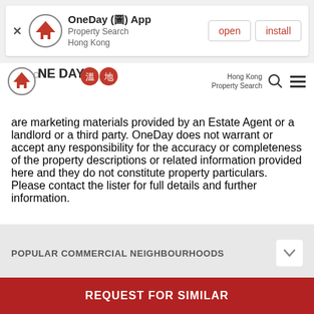[Figure (screenshot): App install banner for OneDay (圖) App - Property Search Hong Kong, with open and install buttons]
[Figure (logo): OneDay 溫地 logo with Hong Kong Property Search navigation bar]
are marketing materials provided by an Estate Agent or a landlord or a third party. OneDay does not warrant or accept any responsibility for the accuracy or completeness of the property descriptions or related information provided here and they do not constitute property particulars. Please contact the lister for full details and further information.
POPULAR COMMERCIAL NEIGHBOURHOODS
POPULAR COMMERCIAL BUILDINGS
REQUEST FOR SIMILAR